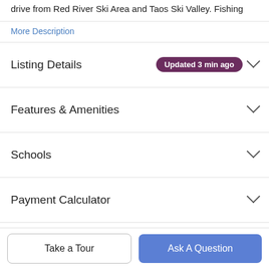drive from Red River Ski Area and Taos Ski Valley. Fishing
More Description
Listing Details  Updated 3 min ago
Features & Amenities
Schools
Payment Calculator
Contact Agent
[Figure (photo): Circular agent profile photo showing a person with dark hair]
Take a Tour
Ask A Question